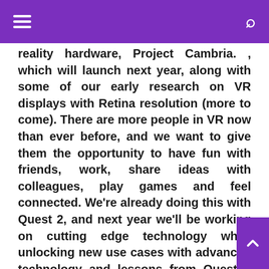reality hardware, Project Cambria. , which will launch next year, along with some of our early research on VR displays with Retina resolution (more to come). There are more people in VR now than ever before, and we want to give them the opportunity to have fun with friends, work, share ideas with colleagues, play games and feel connected. We're already doing this with Quest 2, and next year we'll be working on cutting edge technology while unlocking new use cases with advanced technology and lessons from Quest 2 that will take shape